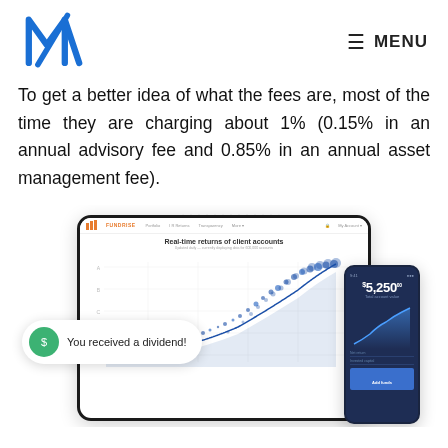M (logo) | ≡ MENU
To get a better idea of what the fees are, most of the time they are charging about 1% (0.15% in an annual advisory fee and 0.85% in an annual asset management fee).
[Figure (screenshot): Screenshot of Fundrise platform showing a tablet with 'Real-time returns of client accounts' scatter/area chart and a notification bubble saying 'You received a dividend!' alongside a mobile phone showing account value of $5,250.]